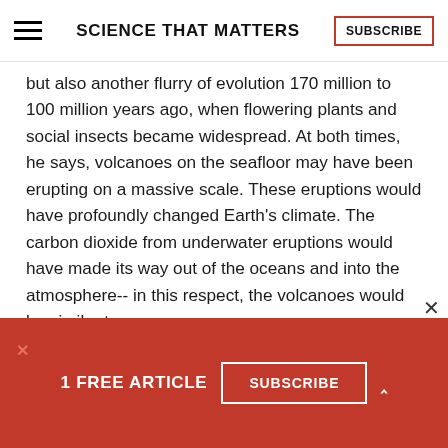SCIENCE THAT MATTERS
but also another flurry of evolution 170 million to 100 million years ago, when flowering plants and social insects became widespread. At both times, he says, volcanoes on the seafloor may have been erupting on a massive scale. These eruptions would have profoundly changed Earth's climate. The carbon dioxide from underwater eruptions would have made its way out of the oceans and into the atmosphere-- in this respect, the volcanoes would be similar to
1 FREE ARTICLE
SUBSCRIBE